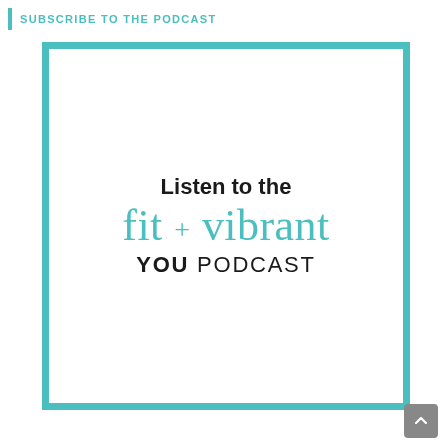SUBSCRIBE TO THE PODCAST
[Figure (logo): Podcast logo image with teal border on white background. Text reads: 'Listen to the fit + vibrant YOU PODCAST' with 'fit + vibrant' in teal script font and 'YOU PODCAST' in bold sans-serif.]